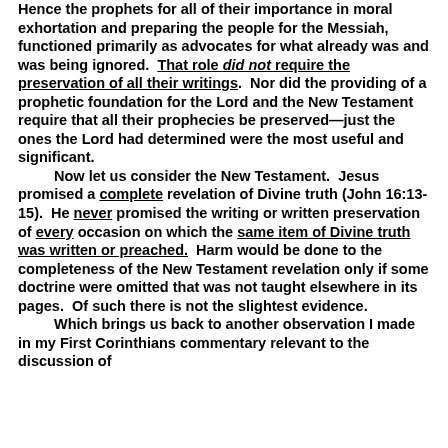Hence the prophets for all of their importance in moral exhortation and preparing the people for the Messiah, functioned primarily as advocates for what already was and was being ignored.  That role did not require the preservation of all their writings.  Nor did the providing of a prophetic foundation for the Lord and the New Testament require that all their prophecies be preserved—just the ones the Lord had determined were the most useful and significant.
Now let us consider the New Testament.  Jesus promised a complete revelation of Divine truth (John 16:13-15).  He never promised the writing or written preservation of every occasion on which the same item of Divine truth was written or preached.  Harm would be done to the completeness of the New Testament revelation only if some doctrine were omitted that was not taught elsewhere in its pages.  Of such there is not the slightest evidence.
Which brings us back to another observation I made in my First Corinthians commentary relevant to the discussion of